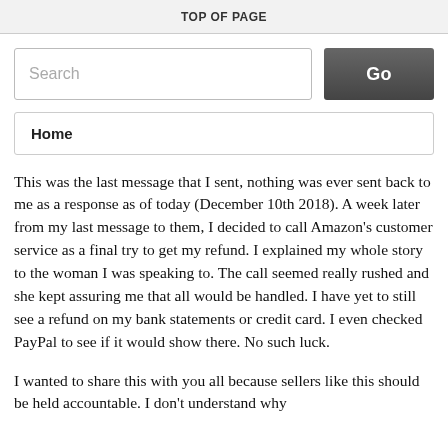TOP OF PAGE
[Figure (screenshot): Search input box with placeholder text 'Search' and a dark 'Go' button]
Home
This was the last message that I sent, nothing was ever sent back to me as a response as of today (December 10th 2018). A week later from my last message to them, I decided to call Amazon's customer service as a final try to get my refund. I explained my whole story to the woman I was speaking to. The call seemed really rushed and she kept assuring me that all would be handled. I have yet to still see a refund on my bank statements or credit card. I even checked PayPal to see if it would show there. No such luck.
I wanted to share this with you all because sellers like this should be held accountable. I don't understand why